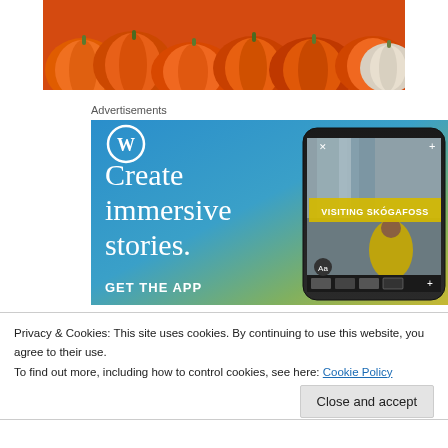[Figure (photo): Partial view of orange pumpkins at top of page]
Advertisements
[Figure (infographic): WordPress advertisement: Create immersive stories. GET THE APP. Shows WordPress logo and a smartphone displaying a story about VISITING SKÓGAFOSS with a waterfall and person in yellow jacket.]
Privacy & Cookies: This site uses cookies. By continuing to use this website, you agree to their use.
To find out more, including how to control cookies, see here: Cookie Policy
Close and accept